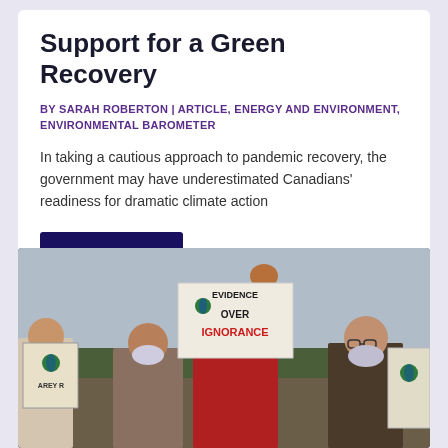Support for a Green Recovery
BY SARAH ROBERTON | ARTICLE, ENERGY AND ENVIRONMENT, ENVIRONMENTAL BAROMETER
In taking a cautious approach to pandemic recovery, the government may have underestimated Canadians' readiness for dramatic climate action
READ MORE
[Figure (photo): Climate protest photo showing people wearing masks and holding signs including one that reads 'EVIDENCE OVER IGNORANCE' with earth globe imagery]